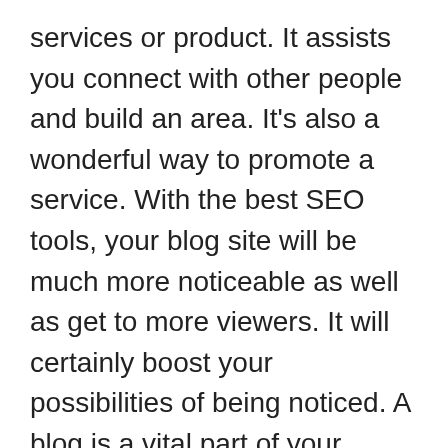services or product. It assists you connect with other people and build an area. It's also a wonderful way to promote a service. With the best SEO tools, your blog site will be much more noticeable as well as get to more viewers. It will certainly boost your possibilities of being noticed. A blog is a vital part of your organization, and a well-optimized web site will certainly boost your sales.
Blogs can be run by people or little teams. A corporate blog is a prominent method to advertise a company, or advertise an item. In both cases, the primary goal of a blog is to create search engine traffic. Much more traffic means more viewers, which indicates more alternatives for using a blog. If you intend to draw in even more visitors to your website